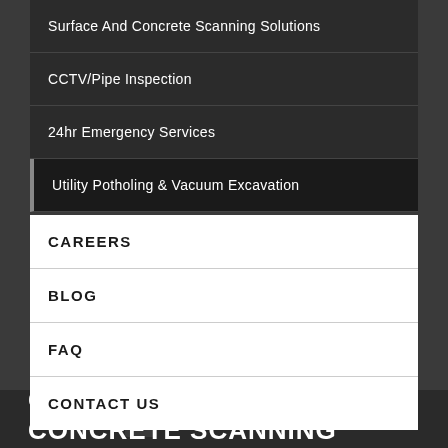Surface And Concrete Scanning Solutions
CCTV/Pipe Inspection
24hr Emergency Services
Utility Potholing & Vacuum Excavation
CAREERS
BLOG
FAQ
CONTACT US
CARLSBAD SURFACE AND CONCRETE SCANNING